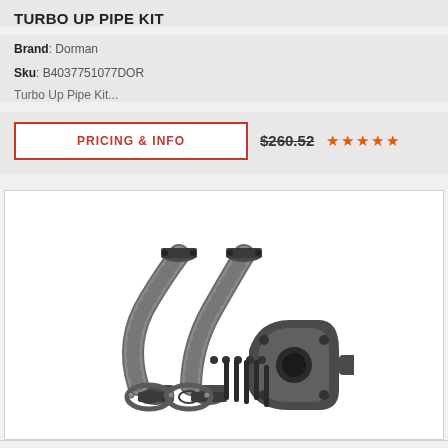TURBO UP PIPE KIT
Brand: Dorman
Sku: B4037751077DOR
Turbo Up Pipe Kit...
PRICING & INFO   $260.52  ★★★★★
[Figure (photo): Product photo of Turbo Up Pipe Kit components including two curved metal pipes, gaskets, bolts, and an elbow fitting on white background]